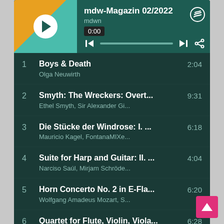[Figure (screenshot): Spotify embedded playlist player showing mdw-Magazin 02/2022 with album art, playback controls at 0:00, and a list of 6 tracks with titles, artists, and durations.]
1  Boys & Death  2:04
Olga Neuwirth
2  Smyth: The Wreckers: Overt...  9:31
Ethel Smyth, Sir Alexander Gi...
3  Die Stücke der Windrose: I. ...  6:18
Mauricio Kagel, FontanaMIXe...
4  Suite for Harp and Guitar: II. ...  4:04
Narciso Saúl, Mirjam Schröde...
5  Horn Concerto No. 2 in E-Fla...  6:20
Wolfgang Amadeus Mozart, S...
6  Quartet for Flute, Violin, Viola...  6:28
Michael Haydn, Dieter Flury, ...